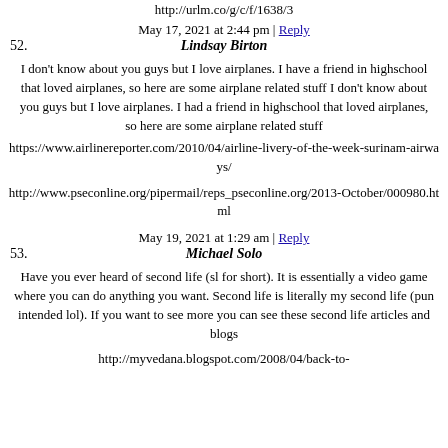http://urlm.co/g/c/f/1638/3
May 17, 2021 at 2:44 pm | Reply
52. Lindsay Birton
I don't know about you guys but I love airplanes. I have a friend in highschool that loved airplanes, so here are some airplane related stuff I don't know about you guys but I love airplanes. I had a friend in highschool that loved airplanes, so here are some airplane related stuff
https://www.airlinereporter.com/2010/04/airline-livery-of-the-week-surinam-airways/
http://www.pseconline.org/pipermail/reps_pseconline.org/2013-October/000980.html
May 19, 2021 at 1:29 am | Reply
53. Michael Solo
Have you ever heard of second life (sl for short). It is essentially a video game where you can do anything you want. Second life is literally my second life (pun intended lol). If you want to see more you can see these second life articles and blogs
http://myvedana.blogspot.com/2008/04/back-to-